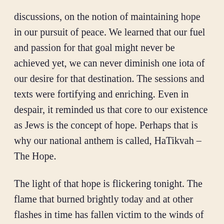discussions, on the notion of maintaining hope in our pursuit of peace. We learned that our fuel and passion for that goal might never be achieved yet, we can never diminish one iota of our desire for that destination. The sessions and texts were fortifying and enriching. Even in despair, it reminded us that core to our existence as Jews is the concept of hope. Perhaps that is why our national anthem is called, HaTikvah – The Hope.
The light of that hope is flickering tonight. The flame that burned brightly today and at other flashes in time has fallen victim to the winds of reality. I hope the light comes back and shines the way for the families of the boys to mourn and continue with life. I hope the light comes back to renew this country in believing in a better tomorrow. I hope for a way to